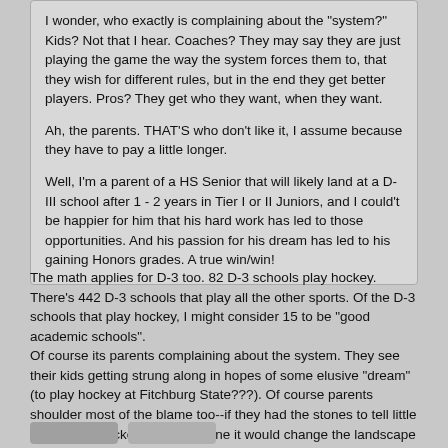I wonder, who exactly is complaining about the "system?" Kids? Not that I hear. Coaches? They may say they are just playing the game the way the system forces them to, that they wish for different rules, but in the end they get better players. Pros? They get who they want, when they want.

Ah, the parents. THAT'S who don't like it, I assume because they have to pay a little longer.

Well, I'm a parent of a HS Senior that will likely land at a D-III school after 1 - 2 years in Tier I or II Juniors, and I could't be happier for him that his hard work has led to those opportunities. And his passion for his dream has led to his gaining Honors grades. A true win/win!
The math applies for D-3 too. 82 D-3 schools play hockey. There's 442 D-3 schools that play all the other sports. Of the D-3 schools that play hockey, I might consider 15 to be "good academic schools".
Of course its parents complaining about the system. They see their kids getting strung along in hopes of some elusive "dream" (to play hockey at Fitchburg State???). Of course parents shoulder most of the blame too--if they had the stones to tell little Johnny his hockey career is done it would change the landscape completely.